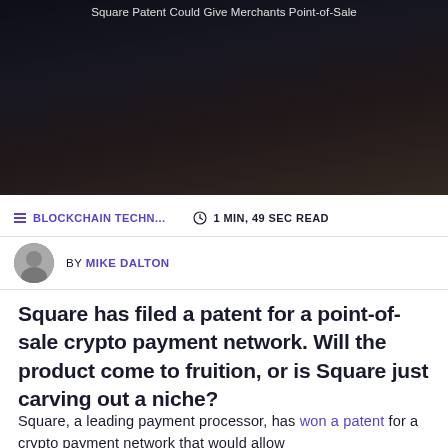Square Patent Could Give Merchants Point-of-Sale
Payments
AUG 30, 2018, 9:50AM
BLOCKCHAIN TECHN...   1 MIN, 49 SEC READ
BY MIKE DALTON
Square has filed a patent for a point-of-sale crypto payment network. Will the product come to fruition, or is Square just carving out a niche?
Square, a leading payment processor, has won a patent for a crypto payment network that would allow